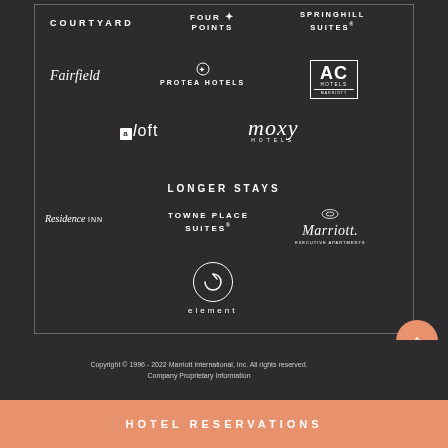[Figure (logo): Courtyard by Marriott logo - white uppercase text 'COURTYARD']
[Figure (logo): Four Points by Sheraton logo - white text with star icon]
[Figure (logo): SpringHill Suites by Marriott logo - white uppercase text]
[Figure (logo): Fairfield by Marriott logo - white italic serif text]
[Figure (logo): Protea Hotels by Marriott logo - white uppercase text with icon]
[Figure (logo): AC Hotels by Marriott logo - white text in outlined box]
[Figure (logo): Aloft logo - white text with stylized letter A]
[Figure (logo): Moxy Hotels logo - white italic script text]
LONGER STAYS
[Figure (logo): Residence Inn by Marriott logo - white serif italic text]
[Figure (logo): TownePlace Suites by Marriott logo - white uppercase text]
[Figure (logo): Marriott Executive Apartments logo - white text with M symbol]
[Figure (logo): Element by Westin logo - white circle icon with text]
Copyright © 1996 - 2022 Marriott International, Inc. All rights reserved. Company Proprietary Information
HOTEL RESERVATIONS